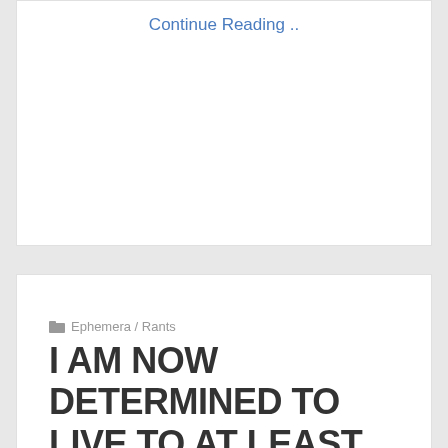Continue Reading ..
Ephemera / Rants
I AM NOW DETERMINED TO LIVE TO AT LEAST 83
- 2009-02-24  - Robyn  1 Comment